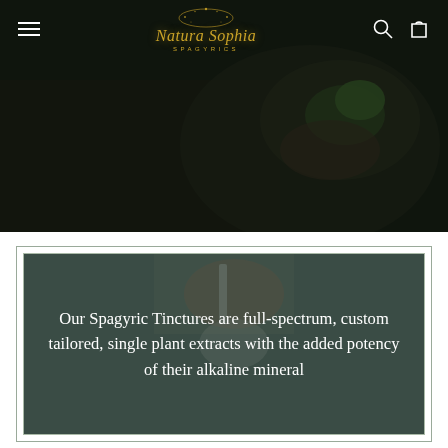[Figure (photo): Hero banner showing hands holding green herbs/mint in a basket, with dark overlay. Navigation bar with hamburger menu icon on left, Natura Sophia Spagyrics logo in center, search and bag icons on right.]
Natura Sophia SPAGYRICS
[Figure (photo): Card with background photo of hands using a dropper into a glass bottle, with double border frame. Contains text about Spagyric Tinctures.]
Our Spagyric Tinctures are full-spectrum, custom tailored, single plant extracts with the added potency of their alkaline mineral